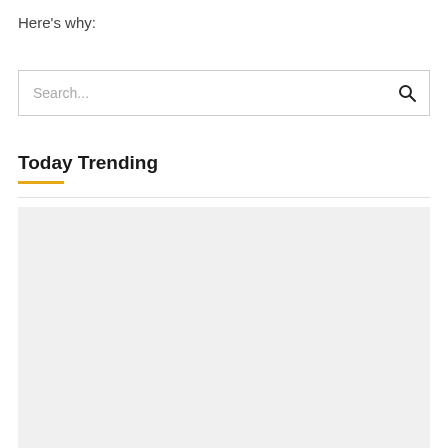Here’s why:
[Figure (screenshot): Search bar with placeholder text 'Search...' and a search icon on the right]
Today Trending
[Figure (photo): Large light gray placeholder image area for trending content]